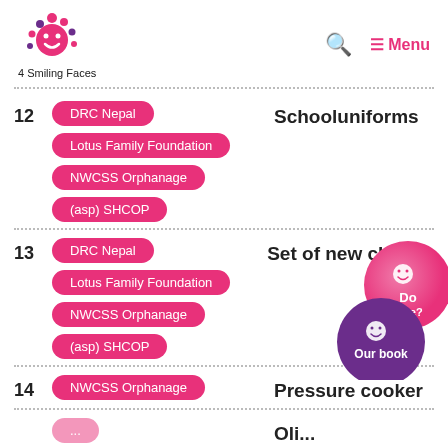4 Smiling Faces — Menu
12 — DRC Nepal, Lotus Family Foundation, NWCSS Orphanage, (asp) SHCOP — Schooluniforms
13 — DRC Nepal, Lotus Family Foundation, NWCSS Orphanage, (asp) SHCOP — Set of new clothes
14 — NWCSS Orphanage — Pressure cooker
[Figure (illustration): Two overlapping circular buttons: a pink 'Donate?' button and a purple 'Our book' button, each with a smiley face icon.]